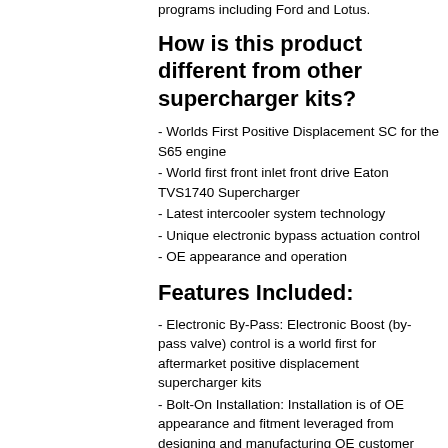programs including Ford and Lotus.
How is this product different from other supercharger kits?
- Worlds First Positive Displacement SC for the S65 engine
- World first front inlet front drive Eaton TVS1740 Supercharger
- Latest intercooler system technology
- Unique electronic bypass actuation control
- OE appearance and operation
Features Included:
- Electronic By-Pass: Electronic Boost (by-pass valve) control is a world first for aftermarket positive displacement supercharger kits
- Bolt-On Installation: Installation is of OE appearance and fitment leveraged from designing and manufacturing OE customer supercharger programs, including Ford and